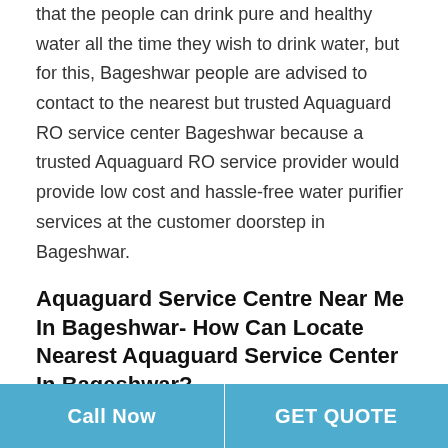that the people can drink pure and healthy water all the time they wish to drink water, but for this, Bageshwar people are advised to contact to the nearest but trusted Aquaguard RO service center Bageshwar because a trusted Aquaguard RO service provider would provide low cost and hassle-free water purifier services at the customer doorstep in Bageshwar.
Aquaguard Service Centre Near Me In Bageshwar- How Can Locate Nearest Aquaguard Service Center In Bageshwar?
In Bageshwar, people don't have enough time to visit the Aquaguard RO service centre to register their water purifier service request because Bageshwar's people have busy lifestyles; thus, they don't get free time to visit water
Call Now | GET QUOTE